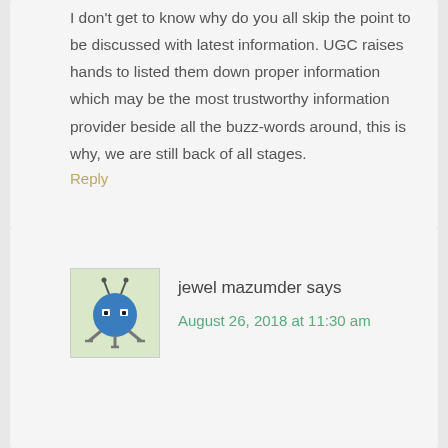I don't get to know why do you all skip the point to be discussed with latest information. UGC raises hands to listed them down proper information which may be the most trustworthy information provider beside all the buzz-words around, this is why, we are still back of all stages.
Reply
[Figure (illustration): Cartoon robot/bug avatar with blue round body, antennae, and mechanical legs]
jewel mazumder says
August 26, 2018 at 11:30 am